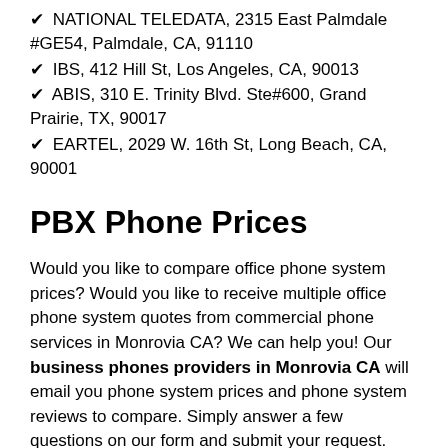✔ NATIONAL TELEDATA, 2315 East Palmdale #GE54, Palmdale, CA, 91110
✔ IBS, 412 Hill St, Los Angeles, CA, 90013
✔ ABIS, 310 E. Trinity Blvd. Ste#600, Grand Prairie, TX, 90017
✔ EARTEL, 2029 W. 16th St, Long Beach, CA, 90001
PBX Phone Prices
Would you like to compare office phone system prices? Would you like to receive multiple office phone system quotes from commercial phone services in Monrovia CA? We can help you! Our business phones providers in Monrovia CA will email you phone system prices and phone system reviews to compare. Simply answer a few questions on our form and submit your request.